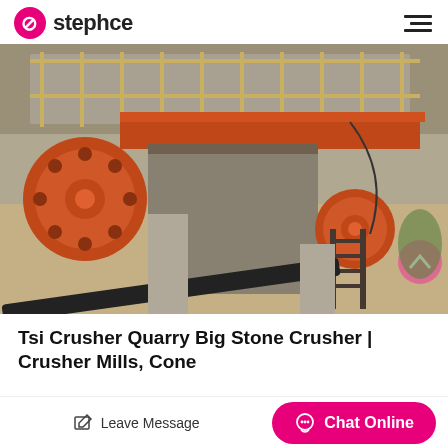stephce
[Figure (photo): Industrial stone crusher / jaw crusher machine at a quarry site, showing large orange flywheel, crusher body, conveyor belt, and metal structure]
Tsi Crusher Quarry Big Stone Crusher | Crusher Mills, Cone
Leave Message  Chat Online